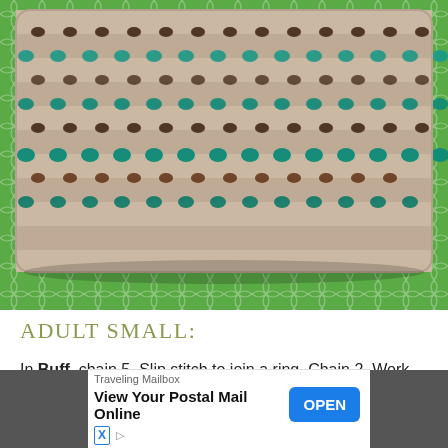[Figure (photo): Close-up photograph of a crocheted hat with a colorwork pattern in buff/tan, teal, and brown colors, lying on a bright green trellis-patterned background.]
ADULT SMALL:
In Buff, chain 5. Slip stitch to join a ring. Chain 2. Work 11 DC into the ring. Join. (11 DC)
R2: Chain 2. Work 1 DC into the first stitch. 2 DC in each [stitch] across the first [stitch]
[Figure (screenshot): Advertisement banner: Traveling Mailbox — View Your Postal Mail Online — OPEN button. With close (X) button and app icon.]